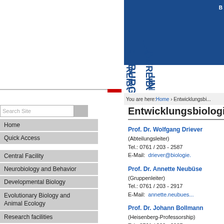[Figure (logo): Uni Freiburg vertical logo with blue text UNI FREIBURG and red accent bar]
You are here: Home › Entwicklungsbi...
Entwicklungsbiologie
Search Site
Home
Quick Access
Central Facility
Neurobiology and Behavior
Developmental Biology
Evolutionary Biology and Animal Ecology
Research facilities
Exhibition
Biology I - internal
Prof. Dr. Wolfgang Driever
(Abteilungsleiter)
Tel.: 0761 / 203 - 2587
E-Mail: driever@biologie...
Prof. Dr. Annette Neubüser
(Gruppenleiter)
Tel.: 0761 / 203 - 2917
E-Mail: annette.neubues...
Prof. Dr. Johann Bollmann
(Heisenberg-Professorship)
Tel.: 0761 / 203 - 2907